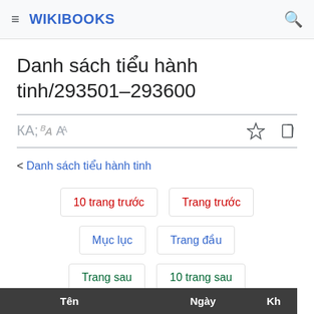WIKIBOOKS
Danh sách tiểu hành tinh/293501–293600
< Danh sách tiểu hành tinh
10 trang trước | Trang trước | Mục lục | Trang đầu | Trang sau | 10 trang sau
| Tên | Ngày | Kh |
| --- | --- | --- |